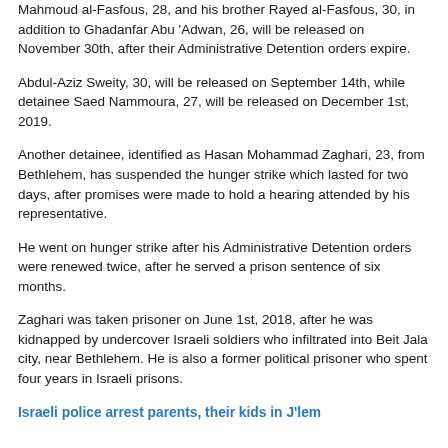Mahmoud al-Fasfous, 28, and his brother Rayed al-Fasfous, 30, in addition to Ghadanfar Abu 'Adwan, 26, will be released on November 30th, after their Administrative Detention orders expire.
Abdul-Aziz Sweity, 30, will be released on September 14th, while detainee Saed Nammoura, 27, will be released on December 1st, 2019.
Another detainee, identified as Hasan Mohammad Zaghari, 23, from Bethlehem, has suspended the hunger strike which lasted for two days, after promises were made to hold a hearing attended by his representative.
He went on hunger strike after his Administrative Detention orders were renewed twice, after he served a prison sentence of six months.
Zaghari was taken prisoner on June 1st, 2018, after he was kidnapped by undercover Israeli soldiers who infiltrated into Beit Jala city, near Bethlehem. He is also a former political prisoner who spent four years in Israeli prisons.
Israeli police arrest parents, their kids in J'lem